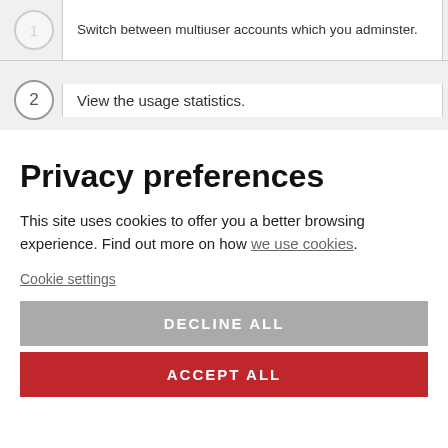Switch between multiuser accounts which you adminster.
2  View the usage statistics.
Privacy preferences
This site uses cookies to offer you a better browsing experience. Find out more on how we use cookies.
Cookie settings
DECLINE ALL
ACCEPT ALL